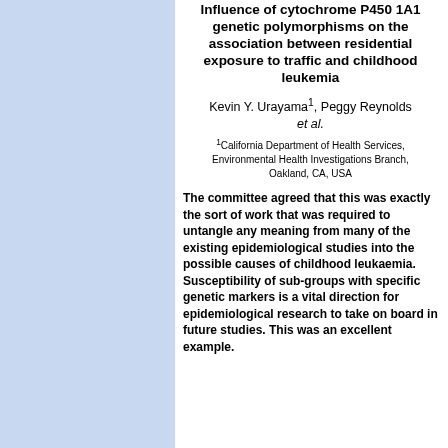Influence of cytochrome P450 1A1 genetic polymorphisms on the association between residential exposure to traffic and childhood leukemia
Kevin Y. Urayama1, Peggy Reynolds et al.
1California Department of Health Services, Environmental Health Investigations Branch, Oakland, CA, USA
The committee agreed that this was exactly the sort of work that was required to untangle any meaning from many of the existing epidemiological studies into the possible causes of childhood leukaemia. Susceptibility of sub-groups with specific genetic markers is a vital direction for epidemiological research to take on board in future studies. This was an excellent example.